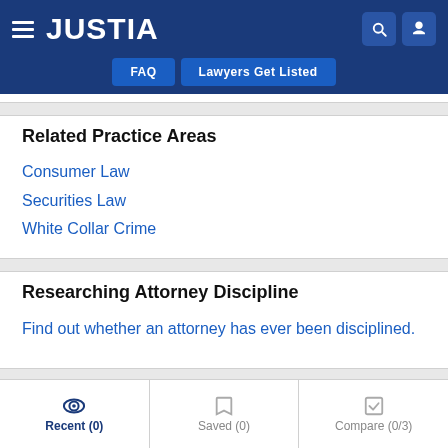JUSTIA — FAQ | Lawyers Get Listed
Related Practice Areas
Consumer Law
Securities Law
White Collar Crime
Researching Attorney Discipline
Find out whether an attorney has ever been disciplined.
Recent (0) | Saved (0) | Compare (0/3)